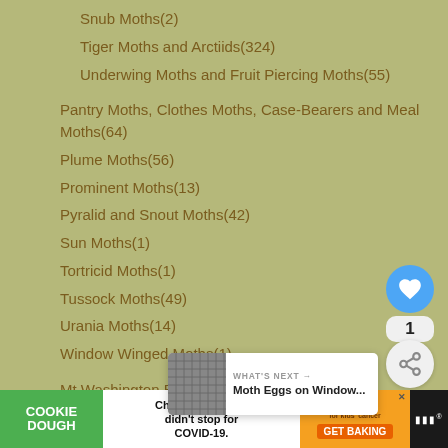Snub Moths(2)
Tiger Moths and Arctiids(324)
Underwing Moths and Fruit Piercing Moths(55)
Pantry Moths, Clothes Moths, Case-Bearers and Meal Moths(64)
Plume Moths(56)
Prominent Moths(13)
Pyralid and Snout Moths(42)
Sun Moths(1)
Tortricid Moths(1)
Tussock Moths(49)
Urania Moths(14)
Window Winged Moths(1)
Mt Washington Blog(6)
Nabokov(24)
Nests(154)
Neuropterans: Lacewings, Antlions, and Owlflies(367)
Opiliones and Harvestmen(75)
[Figure (screenshot): Website UI: heart/like button (blue circle), share count badge showing 1, share button (light gray circle). 'What's Next' overlay showing Moth Eggs on Window... next to a mesh/screen thumbnail image.]
[Figure (screenshot): Advertisement banner: Cookie Dough (green) on left, center text 'Childhood cancer didn't stop for COVID-19.', right orange section with 'cookies for kids cancer GET BAKING' logo. Black section on far right with menu icon.]